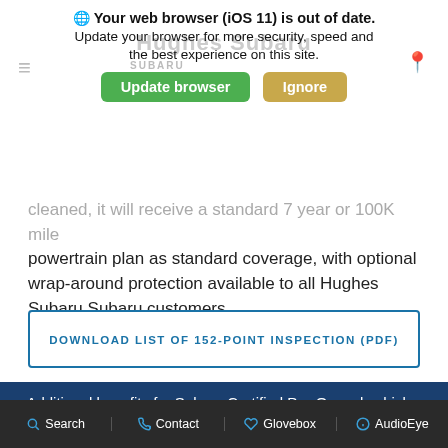[Figure (screenshot): Browser update notification banner with globe icon, bold text 'Your web browser (iOS 11) is out of date.' and subtext, with green 'Update browser' and tan 'Ignore' buttons overlaid on a Hughes Subaru website header]
cleaned, it will receive a standard 7 year or 100K mile powertrain plan as standard coverage, with optional wrap-around protection available to all Hughes Subaru Subaru customers.
DOWNLOAD LIST OF 152-POINT INSPECTION (PDF)
Additional benefits for Subaru Certified Pre-Owned vehicles include free Starlink and XM radio trials as well as a $500 coupon good toward the purchase or lease of your next new Subaru...
Search   Contact   Glovebox   AudioEye